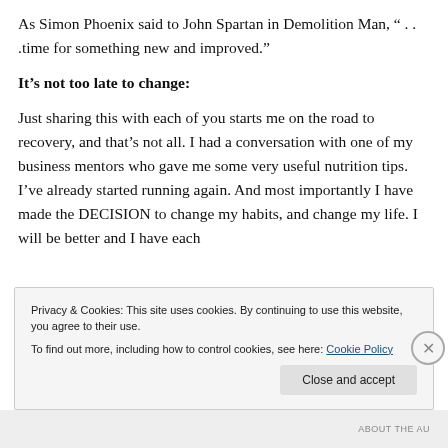As Simon Phoenix said to John Spartan in Demolition Man, “ . . .time for something new and improved.”
It’s not too late to change:
Just sharing this with each of you starts me on the road to recovery, and that’s not all. I had a conversation with one of my business mentors who gave me some very useful nutrition tips. I’ve already started running again. And most importantly I have made the DECISION to change my habits, and change my life. I will be better and I have each
Privacy & Cookies: This site uses cookies. By continuing to use this website, you agree to their use.
To find out more, including how to control cookies, see here: Cookie Policy
ABOUT THE AU